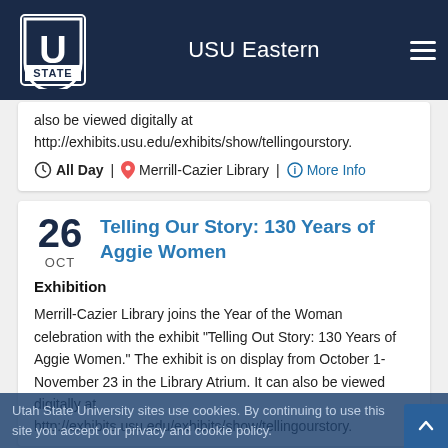USU Eastern
also be viewed digitally at http://exhibits.usu.edu/exhibits/show/tellingourstory.
All Day | Merrill-Cazier Library | More Info
26 OCT
Telling Our Story: 130 Years of Aggie Women
Exhibition
Merrill-Cazier Library joins the Year of the Woman celebration with the exhibit "Telling Out Story: 130 Years of Aggie Women." The exhibit is on display from October 1-November 23 in the Library Atrium. It can also be viewed digitally at http://exhibits.usu.edu/exhibits/show/tellingourstory.
Utah State University sites use cookies. By continuing to use this site you accept our privacy and cookie policy.